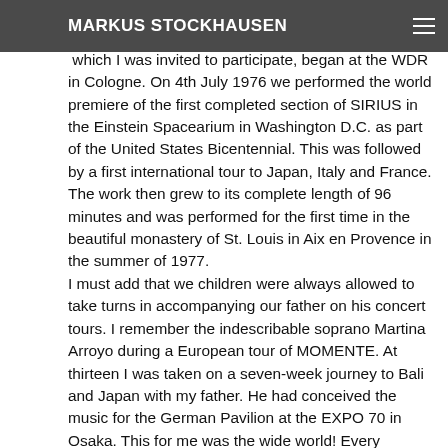MARKUS STOCKHAUSEN
the rehearsals for SIRIUS, a comprehensive work for four which I was invited to participate, began at the WDR in Cologne. On 4th July 1976 we performed the world premiere of the first completed section of SIRIUS in the Einstein Spacearium in Washington D.C. as part of the United States Bicentennial. This was followed by a first international tour to Japan, Italy and France. The work then grew to its complete length of 96 minutes and was performed for the first time in the beautiful monastery of St. Louis in Aix en Provence in the summer of 1977. I must add that we children were always allowed to take turns in accompanying our father on his concert tours. I remember the indescribable soprano Martina Arroyo during a European tour of MOMENTE. At thirteen I was taken on a seven-week journey to Bali and Japan with my father. He had conceived the music for the German Pavilion at the EXPO 70 in Osaka. This for me was the wide world! Every morning I wandered past the 180 pavilions and absorbed music and cultural impressions from around the globe and during the afternoon I listened to his composition interpreted by more than 20 musicians and supported by a considerable amount of electronic music. These impressions were wonderful and worked deeply on me! I will never forget further concert tours